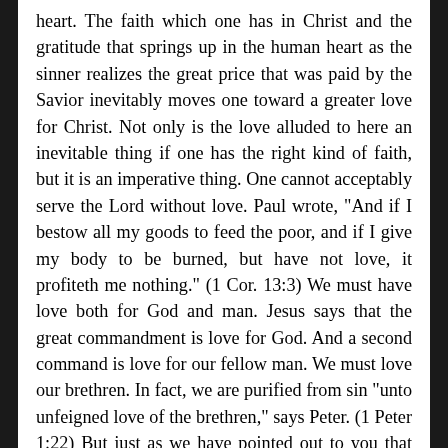heart. The faith which one has in Christ and the gratitude that springs up in the human heart as the sinner realizes the great price that was paid by the Savior inevitably moves one toward a greater love for Christ. Not only is the love alluded to here an inevitable thing if one has the right kind of faith, but it is an imperative thing. One cannot acceptably serve the Lord without love. Paul wrote, "And if I bestow all my goods to feed the poor, and if I give my body to be burned, but have not love, it profiteth me nothing." (1 Cor. 13:3) We must have love both for God and man. Jesus says that the great commandment is love for God. And a second command is love for our fellow man. We must love our brethren. In fact, we are purified from sin "unto unfeigned love of the brethren," says Peter. (1 Peter 1:22) But just as we have pointed out to you that love is an inevitable outgrowth of a saving faith, so it is also true that obedience is an inevitable outgrowth of love. Jesus said, "If ye love me, ye will keep my commandments." (John 14:15) Thus, Jesus says that love and obedience are inseparable. One might just as well deny the necessity of love as to deny